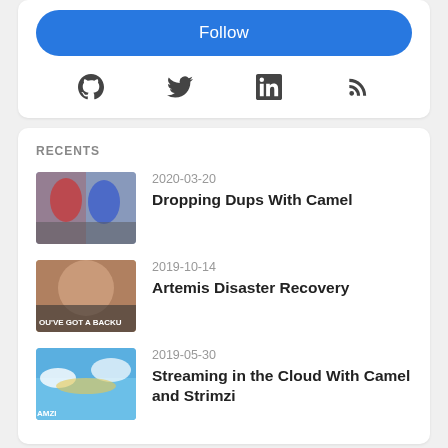[Figure (screenshot): Follow button - blue rounded rectangle]
[Figure (infographic): Social media icons: GitHub, Twitter, LinkedIn, RSS]
RECENTS
[Figure (photo): Spiderman pointing meme thumbnail]
2020-03-20
Dropping Dups With Camel
[Figure (photo): YOU'VE GOT A BACKUP meme thumbnail]
2019-10-14
Artemis Disaster Recovery
[Figure (photo): Streaming camel cloud thumbnail]
2019-05-30
Streaming in the Cloud With Camel and Strimzi